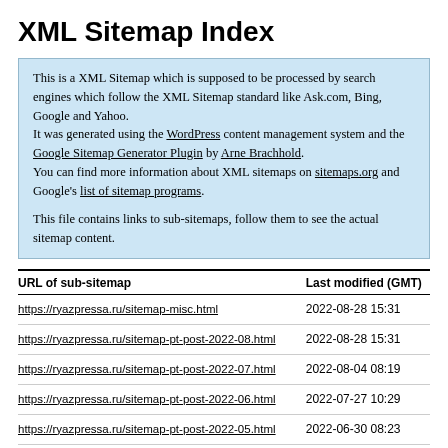XML Sitemap Index
This is a XML Sitemap which is supposed to be processed by search engines which follow the XML Sitemap standard like Ask.com, Bing, Google and Yahoo.
It was generated using the WordPress content management system and the Google Sitemap Generator Plugin by Arne Brachhold.
You can find more information about XML sitemaps on sitemaps.org and Google's list of sitemap programs.

This file contains links to sub-sitemaps, follow them to see the actual sitemap content.
| URL of sub-sitemap | Last modified (GMT) |
| --- | --- |
| https://ryazpressa.ru/sitemap-misc.html | 2022-08-28 15:31 |
| https://ryazpressa.ru/sitemap-pt-post-2022-08.html | 2022-08-28 15:31 |
| https://ryazpressa.ru/sitemap-pt-post-2022-07.html | 2022-08-04 08:19 |
| https://ryazpressa.ru/sitemap-pt-post-2022-06.html | 2022-07-27 10:29 |
| https://ryazpressa.ru/sitemap-pt-post-2022-05.html | 2022-06-30 08:23 |
| https://ryazpressa.ru/sitemap-pt-post-2022-04.html | 2022-06-22 09:48 |